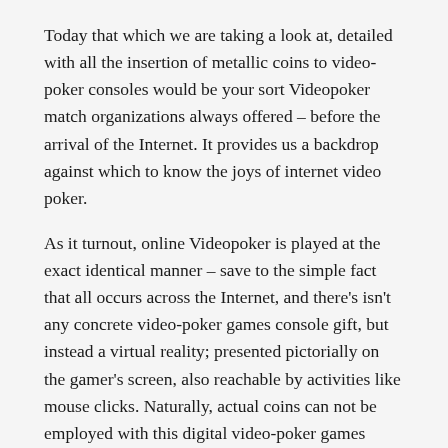Today that which we are taking a look at, detailed with all the insertion of metallic coins to video-poker consoles would be your sort Videopoker match organizations always offered – before the arrival of the Internet. It provides us a backdrop against which to know the joys of internet video poker.
As it turnout, online Videopoker is played at the exact identical manner – save to the simple fact that all occurs across the Internet, and there's isn't any concrete video-poker games console gift, but instead a virtual reality; presented pictorially on the gamer's screen, also reachable by activities like mouse clicks. Naturally, actual coins can not be employed with this digital video-poker games console. As an alternative, people appearing to position stakes transfer money out of their online casino balances to get gaming credits on the digital console – after that your game proceeds exactly the same manner as outlined for conventional version above.